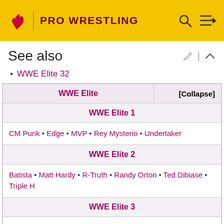PRO WRESTLING
See also
WWE Elite 32
| WWE Elite | [Collapse] |
| --- | --- |
| WWE Elite 1 |  |
| CM Punk • Edge • MVP • Rey Mysterio • Undertaker |  |
| WWE Elite 2 |  |
| Batista • Matt Hardy • R-Truth • Randy Orton • Ted Dibiase • Triple H |  |
| WWE Elite 3 |  |
| Christian • Cody Rhodes • John Cena • Santino Marella • |  |